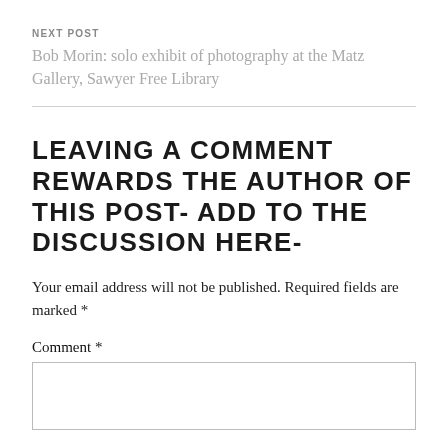NEXT POST
Bob Morin: solo exhibit of photography at the Matz Gallery, Sawyer Free Library
LEAVING A COMMENT REWARDS THE AUTHOR OF THIS POST- ADD TO THE DISCUSSION HERE-
Your email address will not be published. Required fields are marked *
Comment *